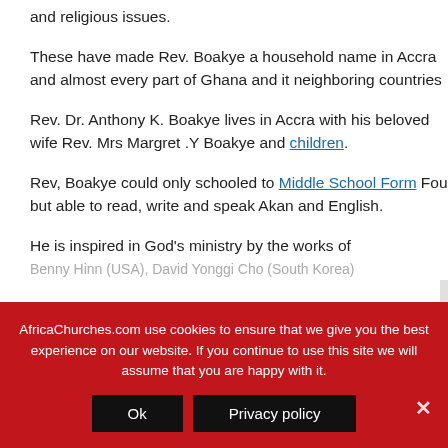and religious issues.
These have made Rev. Boakye a household name in Accra and almost every part of Ghana and it neighboring countries
Rev. Dr. Anthony K. Boakye lives in Accra with his beloved wife Rev. Mrs Margret .Y Boakye and children.
Rev, Boakye could only schooled to Middle School Form Four but able to read, write and speak Akan and English.
He is inspired in God’s ministry by the works of Benny Hinn (USA), David Yonggi Cho (South Korea)
AfricaChurches.com use cookies to ensure that we give you the best experience on our website. If you continue to use this site we will assume that you are happy with it.